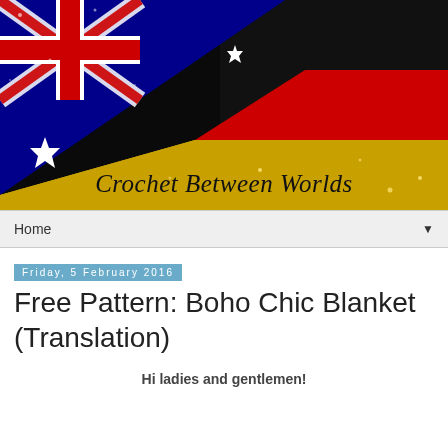[Figure (illustration): Blog header banner showing Australian flag (blue with Union Jack and stars) on the left half merging diagonally with the German flag (black, red, gold stripes) on the right half. The blog name 'Crochet Between Worlds' is written in cursive script over the gold section.]
Home ▼
Friday, 5 February 2016
Free Pattern: Boho Chic Blanket (Translation)
Hi ladies and gentlemen!